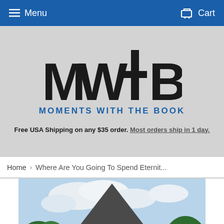Menu   Cart
[Figure (logo): MWTB - Moments With The Book logo with large bold black letters and blue tagline text on light gray background]
Free USA Shipping on any $35 order. Most orders ship in 1 day.
Home › Where Are You Going To Spend Eternit...
[Figure (photo): A white church building with a pointed steeple peak visible, surrounded by green trees against a partly cloudy sky]